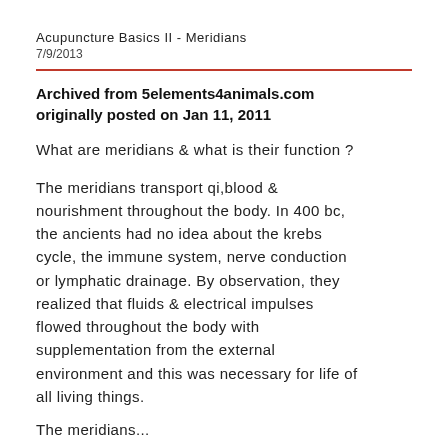Acupuncture Basics II - Meridians
7/9/2013
Archived from 5elements4animals.com originally posted on Jan 11, 2011
What are meridians & what is their function ?
The meridians transport qi,blood & nourishment throughout the body. In 400 bc, the ancients had no idea about the krebs cycle, the immune system, nerve conduction or lymphatic drainage. By observation, they realized that fluids & electrical impulses flowed throughout the body with supplementation from the external environment and this was necessary for life of all living things.
The meridians...